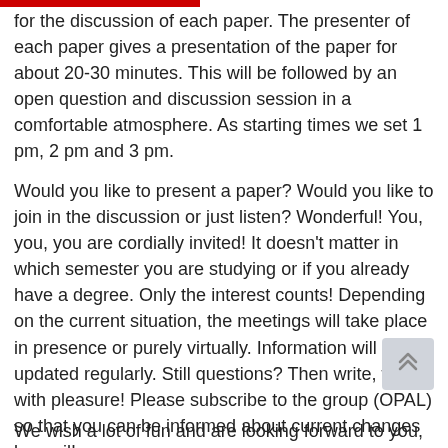for the discussion of each paper. The presenter of each paper gives a presentation of the paper for about 20-30 minutes. This will be followed by an open question and discussion session in a comfortable atmosphere. As starting times we set 1 pm, 2 pm and 3 pm.
Would you like to present a paper? Would you like to join in the discussion or just listen? Wonderful! You, you, you are cordially invited! It doesn't matter in which semester you are studying or if you already have a degree. Only the interest counts! Depending on the current situation, the meetings will take place in presence or purely virtually. Information will be updated regularly. Still questions? Then write, write with pleasure! Please subscribe to the group (OPAL) so that you can be informed about current changes by mail!
We wish a lot of fun and are looking forward to you, to you!